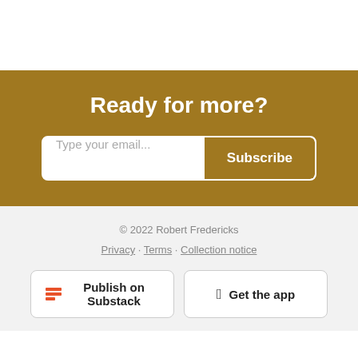Ready for more?
Type your email...
Subscribe
© 2022 Robert Fredericks
Privacy · Terms · Collection notice
Publish on Substack
Get the app